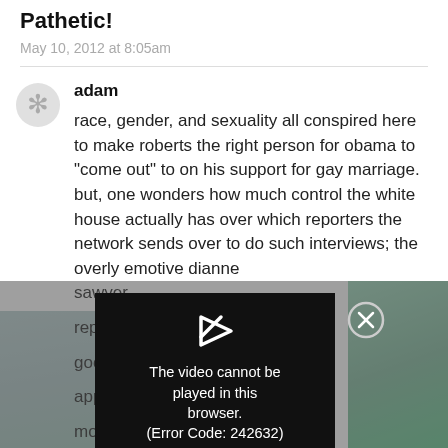Pathetic!
May 10, 2012 at 8:05am
adam
race, gender, and sexuality all conspired here to make roberts the right person for obama to “come out” to on his support for gay marriage. but, one wonders how much control the white house actually has over which reporters the network sends over to do such interviews; the overly emotive dianne sawyer would have been a compelling reporter goofball take approximately f good morning ly known, would have much of the country choking on their cornflakes.
[Figure (screenshot): Video popup overlay showing 'The video cannot be played in this browser. (Error Code: 242632)' with a play icon and close button, overlaid on a background showing outdoor/nature image]